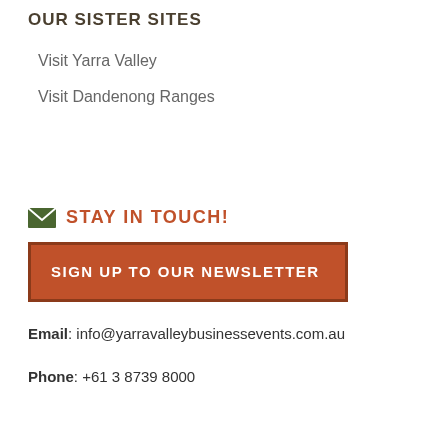OUR SISTER SITES
Visit Yarra Valley
Visit Dandenong Ranges
STAY IN TOUCH!
SIGN UP TO OUR NEWSLETTER
Email: info@yarravalleybusinessevents.com.au
Phone: +61 3 8739 8000